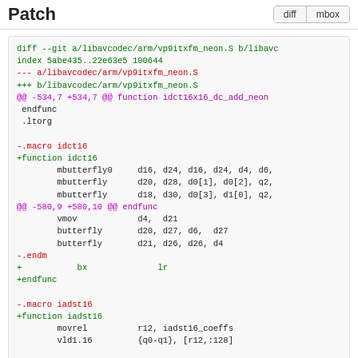Patch   diff   mbox
diff --git a/libavcodec/arm/vp9itxfm_neon.S b/libavc
index 5abe435..22e63e5 100644
--- a/libavcodec/arm/vp9itxfm_neon.S
+++ b/libavcodec/arm/vp9itxfm_neon.S
@@ -534,7 +534,7 @@  function idct16x16_dc_add_neon
  endfunc
  .ltorg

-.macro idct16
+function idct16
         mbutterfly0     d16, d24, d16, d24, d4, d6,
         mbutterfly      d20, d28, d0[1], d0[2], q2,
         mbutterfly      d18, d30, d0[3], d1[0], q2,
@@ -580,9 +580,10 @@  endfunc
         vmov            d4,  d21
         butterfly       d20, d27, d6,  d27
         butterfly       d21, d26, d26, d4
-.endm
+           bx              lr
+endfunc

-.macro iadst16
+function iadst16
         movrel          r12, iadst16_coeffs
         vld1.16         {q0-q1}, [r12,:128]

@@ -653,7 +654,8 @@  endfunc